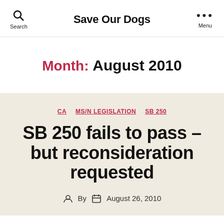Save Our Dogs
Month: August 2010
CA  MS/N LEGISLATION  SB 250
SB 250 fails to pass – but reconsideration requested
By  August 26, 2010